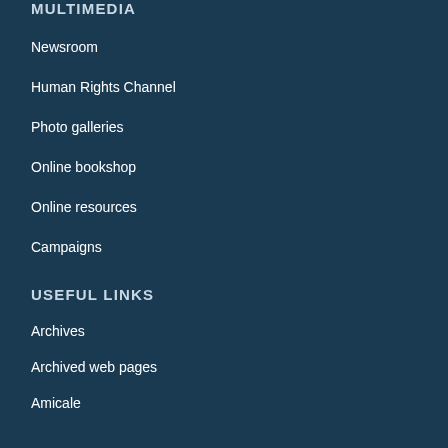MULTIMEDIA
Newsroom
Human Rights Channel
Photo galleries
Online bookshop
Online resources
Campaigns
USEFUL LINKS
Archives
Archived web pages
Amicale
Administrative Tribunal
Accessibility
Sitemap